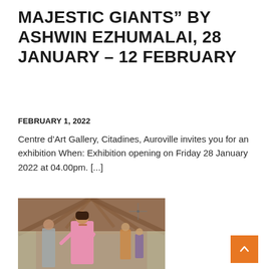MAJESTIC GIANTS" BY ASHWIN EZHUMALAI, 28 JANUARY – 12 FEBRUARY
FEBRUARY 1, 2022
Centre d'Art Gallery, Citadines, Auroville invites you for an exhibition When: Exhibition opening on Friday 28 January 2022 at 04.00pm. [...]
[Figure (photo): People dancing inside a large wooden pavilion with a conical thatched roof. A woman in a pink dress is in the foreground, with other participants visible behind her.]